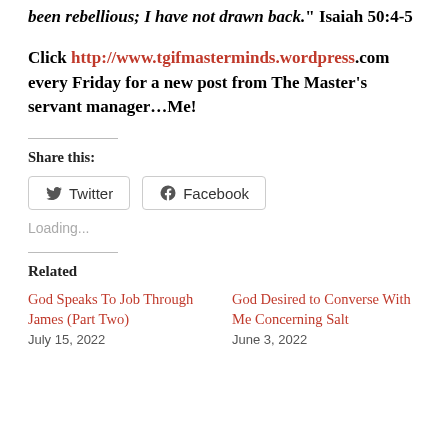been rebellious; I have not drawn back." Isaiah 50:4-5
Click http://www.tgifmasterminds.wordpress.com every Friday for a new post from The Master's servant manager…Me!
Share this:
[Figure (other): Twitter and Facebook share buttons]
Loading...
Related
God Speaks To Job Through James (Part Two) July 15, 2022
God Desired to Converse With Me Concerning Salt June 3, 2022